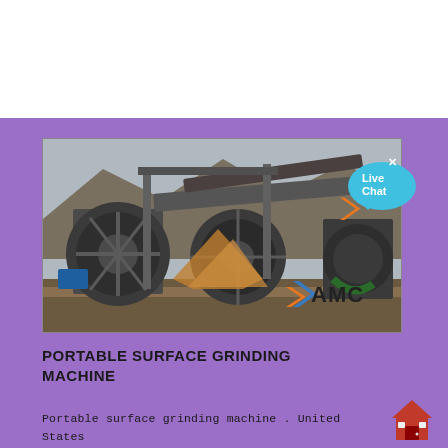[Figure (photo): Industrial portable surface grinding machine / sand washing machine in an outdoor mining or quarrying site. Large rotary drum wheels visible, with rocky terrain in background. AMC company logo watermarked at bottom right of photo.]
PORTABLE SURFACE GRINDING MACHINE
Portable surface grinding machine . United States Patent 4271638 . Abstract: A portable surface